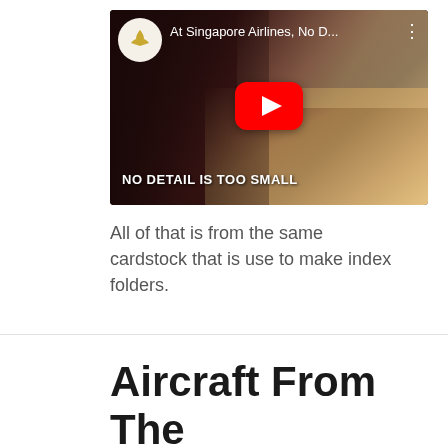[Figure (screenshot): YouTube video thumbnail for Singapore Airlines video titled 'At Singapore Airlines, No D...' showing hands manipulating small cardboard/wood pieces with text overlay 'NO DETAIL IS TOO SMALL'. Features Singapore Airlines logo in top-left circle and YouTube play button in center.]
All of that is from the same cardstock that is use to make index folders.
Aircraft From The Times Of Wing Wo...